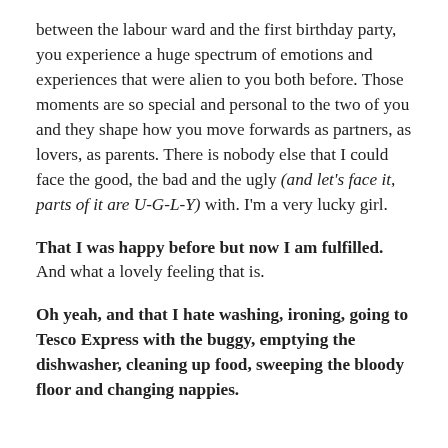between the labour ward and the first birthday party, you experience a huge spectrum of emotions and experiences that were alien to you both before. Those moments are so special and personal to the two of you and they shape how you move forwards as partners, as lovers, as parents. There is nobody else that I could face the good, the bad and the ugly (and let's face it, parts of it are U-G-L-Y) with. I'm a very lucky girl.
That I was happy before but now I am fulfilled. And what a lovely feeling that is.
Oh yeah, and that I hate washing, ironing, going to Tesco Express with the buggy, emptying the dishwasher, cleaning up food, sweeping the bloody floor and changing nappies.